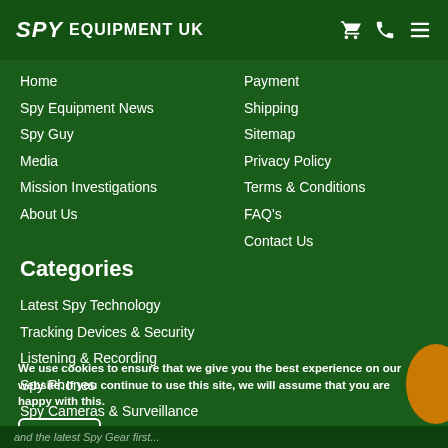SPY EQUIPMENT UK
Home
Spy Equipment News
Spy Guy
Media
Mission Investigations
About Us
Payment
Shipping
Sitemap
Privacy Policy
Terms & Conditions
FAQ's
Contact Us
Categories
Latest Spy Technology
Tracking Devices & Security
Listening & Recording
Spy Phones
Spy Cameras & Surveillance
We use cookies to ensure that we give you the best experience on our website. If you continue to use this site, we will assume that you are happy with this.
and the latest Spy Gear first...